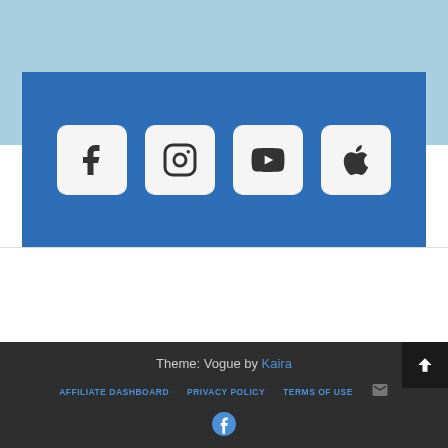[Figure (screenshot): Light blue banner section at top of page]
[Figure (screenshot): Blue section with four social media icon boxes: Facebook, Instagram, YouTube, Apple]
Theme: Vogue by Kaira
AFFILIATE DASHBOARD   PRIVACY POLICY   TERMS OF USE   [mail icon]   [facebook icon]